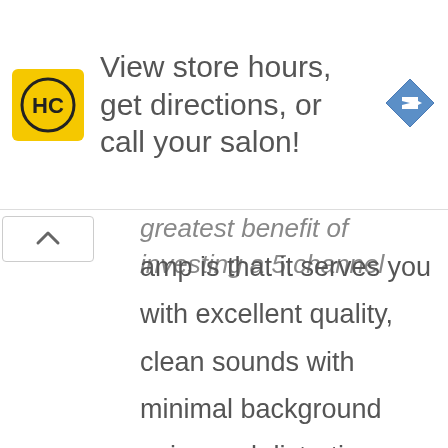[Figure (infographic): Advertisement banner: HC logo (yellow square with HC letters), text 'View store hours, get directions, or call your salon!', blue diamond navigation arrow icon]
greatest benefit of investing a 5 channel amp is that it serves you with excellent quality, clean sounds with minimal background noise and distortions. The secret to the amp's top performance lies in fusing the two amplifier technologies (AB and D).
Save more space: since this amplifier combines up to 2 amps into one, it saves